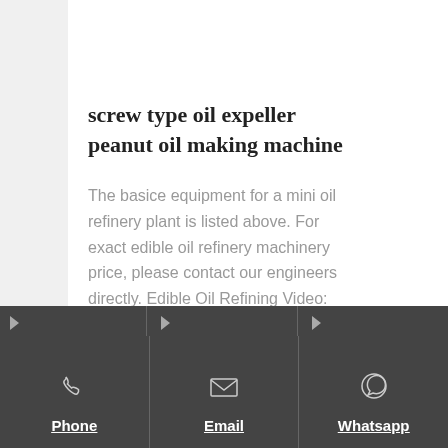screw type oil expeller peanut oil making machine
The basice equipment for a mini oil refinery plant is listed above. For exact edible oil refinery machinery price, please contact our engineers directly. Edible Oil Refining Video: How Small Scale Oil Refinery Works? The following video is about a small
Phone | Email | Whatsapp